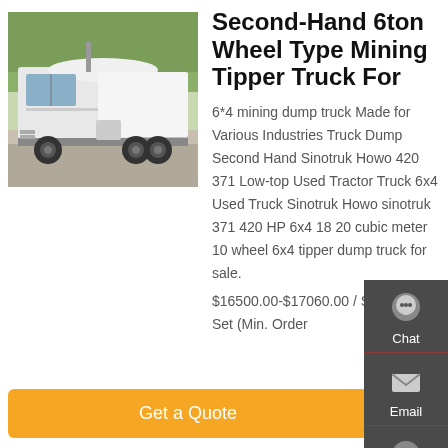[Figure (photo): Second-hand semi truck / tractor unit parked outdoors, rear three-quarter view, white cab, industrial yard with trees in background]
Second-Hand 6ton Wheel Type Mining Tipper Truck For
6*4 mining dump truck Made for Various Industries Truck Dump Second Hand Sinotruk Howo 420 371 Low-top Used Tractor Truck 6x4 Used Truck Sinotruk Howo sinotruk 371 420 HP 6x4 18 20 cubic meter 10 wheel 6x4 tipper dump truck for sale. $16500.00-$17060.00 / Set. 1 Set (Min. Order
Get a Quote